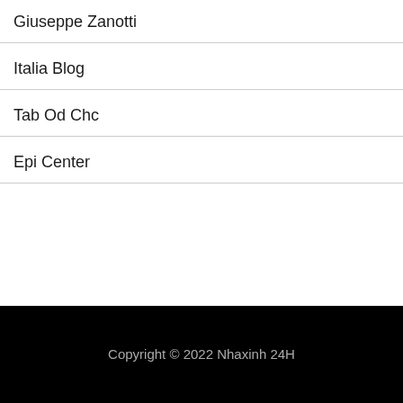Giuseppe Zanotti
Italia Blog
Tab Od Chc
Epi Center
Copyright © 2022 Nhaxinh 24H